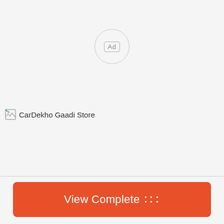[Figure (other): Ad badge circle with 'Ad' label inside a rounded rectangle, centered on page]
[Figure (other): Broken image placeholder with alt text 'CarDekho Gaadi Store']
View Complete ᱺᱺᱺ